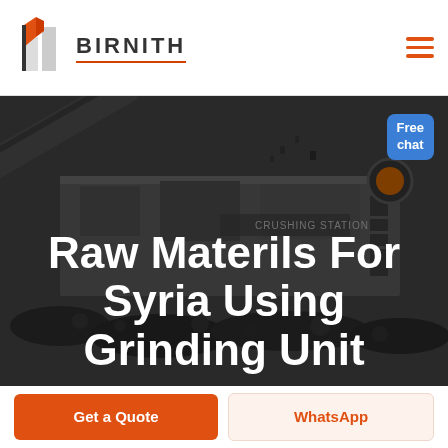[Figure (logo): Birnith company logo with orange building/construction icon and brand name BIRNITH with red underline, and hamburger menu icon on right]
[Figure (photo): Industrial crushing station machinery with conveyor belts and large mechanical equipment, dark/gray toned image with overlay text]
Raw Materils For Syria Using Grinding Unit
Free chat
Get a Quote
WhatsApp